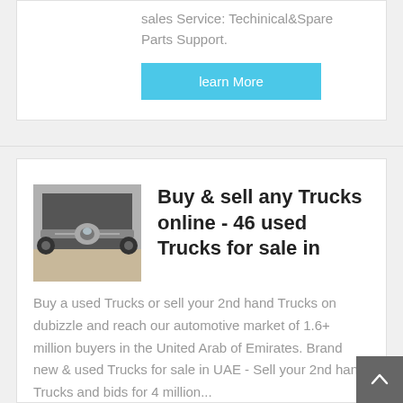sales Service: Techinical&Spare Parts Support.
learn More
[Figure (photo): Underside/chassis view of a truck, showing axle, wheels, and undercarriage components.]
Buy & sell any Trucks online - 46 used Trucks for sale in
Buy a used Trucks or sell your 2nd hand Trucks on dubizzle and reach our automotive market of 1.6+ million buyers in the United Arab of Emirates. Brand new & used Trucks for sale in UAE - Sell your 2nd hand Trucks and bids for 4 million...